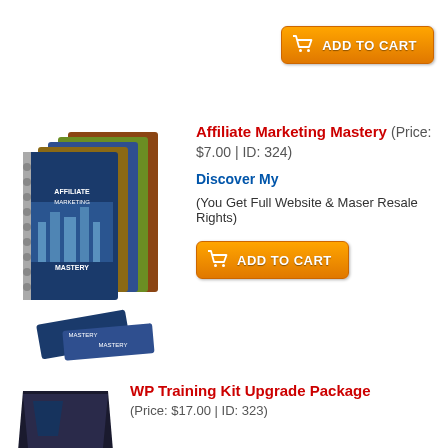[Figure (illustration): Add to Cart orange button with shopping cart icon at top of page]
[Figure (photo): Affiliate Marketing Mastery product image showing multiple book/guide covers stacked]
Affiliate Marketing Mastery (Price: $7.00 | ID: 324)
Discover My
(You Get Full Website & Maser Resale Rights)
[Figure (illustration): Add to Cart orange button with shopping cart icon]
[Figure (photo): WP Training Kit dark triangular/laptop product image]
WP Training Kit Upgrade Package (Price: $17.00 | ID: 323)
Discover the best resource to take your WordPress website to the next level! Jump on this 'Most-Used' Website Builder with our Awesome and step-by-step WP Training Kit HD Video course Upgrade Package to get hordes of traffic and tons of revenue! With more than one-third of all websites powered by WordPress, there's no doubt that it's the most popular and widely used content